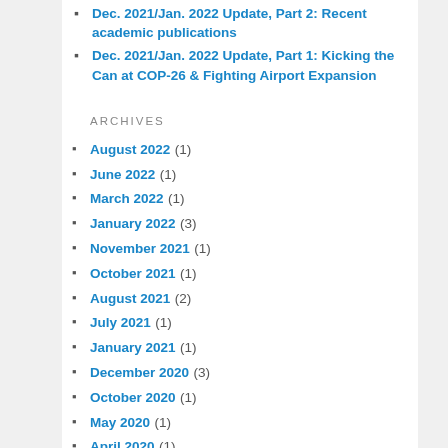Dec. 2021/Jan. 2022 Update, Part 2: Recent academic publications
Dec. 2021/Jan. 2022 Update, Part 1: Kicking the Can at COP-26 & Fighting Airport Expansion
ARCHIVES
August 2022 (1)
June 2022 (1)
March 2022 (1)
January 2022 (3)
November 2021 (1)
October 2021 (1)
August 2021 (2)
July 2021 (1)
January 2021 (1)
December 2020 (3)
October 2020 (1)
May 2020 (1)
April 2020 (1)
March 2020 (1)
February 2020 (1)